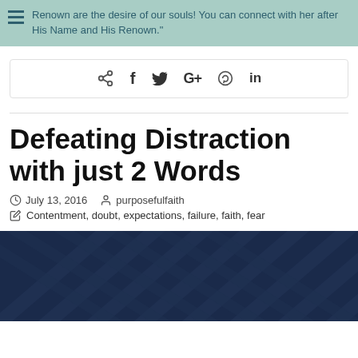Renown are the desire of our souls! You can connect with her after His Name and His Renown.
[Figure (screenshot): Social share bar with icons: share, facebook, twitter, google+, pinterest, linkedin]
Defeating Distraction with just 2 Words
July 13, 2016   purposefulfaith
Contentment, doubt, expectations, failure, faith, fear
[Figure (photo): Dark navy blue diagonal stripe pattern background image]